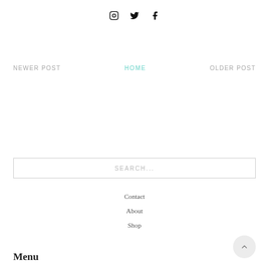[Figure (other): Social media icons: Instagram, Twitter, Facebook]
NEWER POST   HOME   OLDER POST
SEARCH...
Contact
About
Shop
Menu